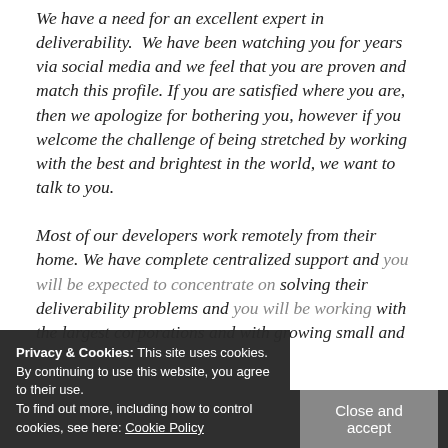We have a need for an excellent expert in deliverability. We have been watching you for years via social media and we feel that you are proven and match this profile. If you are satisfied where you are, then we apologize for bothering you, however if you welcome the challenge of being stretched by working with the best and brightest in the world, we want to talk to you.
Most of our developers work remotely from their home. We have complete centralized support and you will be expected to concentrate on solving their deliverability problems and you will be working with the largest corporations and with growing small and
Privacy & Cookies: This site uses cookies. By continuing to use this website, you agree to their use. To find out more, including how to control cookies, see here: Cookie Policy
Close and accept